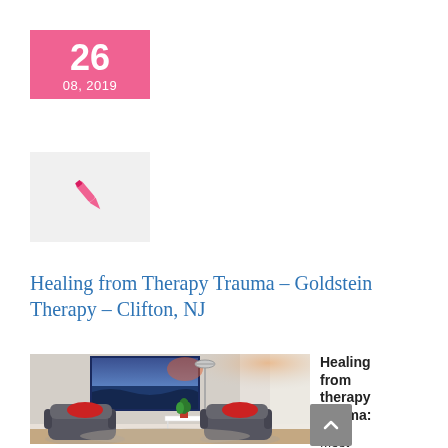26 08, 2019
[Figure (illustration): Pink pen/quill icon on light gray background]
Healing from Therapy Trauma – Goldstein Therapy – Clifton, NJ
[Figure (photo): Therapy office interior with two patterned armchairs with red cushions, a small white table with a red flower plant, a floor lamp, and a large ocean landscape painting on the wall]
Healing from therapy trauma:

Most therapists are good people